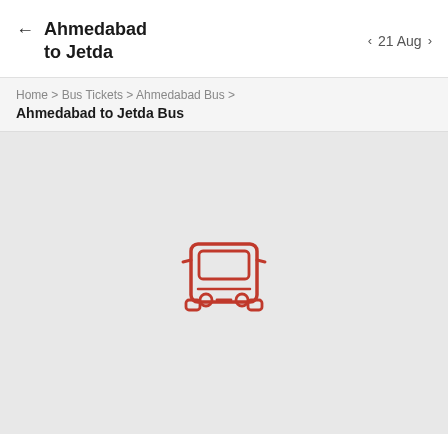Ahmedabad to Jetda
21 Aug
Home > Bus Tickets > Ahmedabad Bus >
Ahmedabad to Jetda Bus
[Figure (illustration): Red bus icon (front view) on a grey background, indicating no bus results found.]